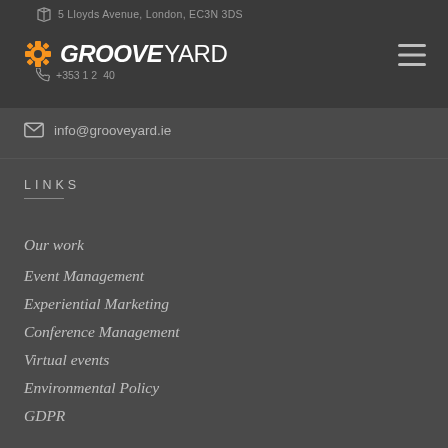5 Lloyds Avenue, London, EC3N 3DS
[Figure (logo): Grooveyard logo with gear/cogwheel icon and wordmark reading GROOVEYARD]
info@grooveyard.ie
LINKS
Our work
Event Management
Experiential Marketing
Conference Management
Virtual events
Environmental Policy
GDPR